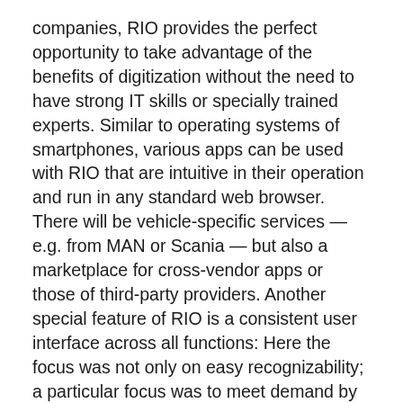companies, RIO provides the perfect opportunity to take advantage of the benefits of digitization without the need to have strong IT skills or specially trained experts. Similar to operating systems of smartphones, various apps can be used with RIO that are intuitive in their operation and run in any standard web browser. There will be vehicle-specific services — e.g. from MAN or Scania — but also a marketplace for cross-vendor apps or those of third-party providers. Another special feature of RIO is a consistent user interface across all functions: Here the focus was not only on easy recognizability; a particular focus was to meet demand by providing to the different stakeholders of the ecosystem an intuitive interface and subsequently ensuring broad user acceptance.
Markus Lipinsky, Chief Digital Officer at MAN and responsible for RIO, explains: "It is not about launching another telematics system. Instead, we deliberately designed RIO as an open platform that brings together the